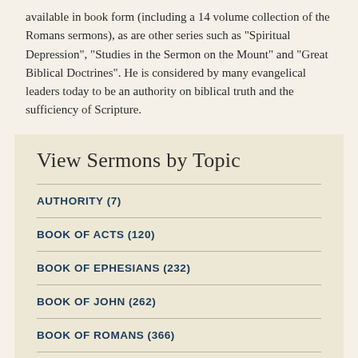available in book form (including a 14 volume collection of the Romans sermons), as are other series such as "Spiritual Depression", "Studies in the Sermon on the Mount" and "Great Biblical Doctrines". He is considered by many evangelical leaders today to be an authority on biblical truth and the sufficiency of Scripture.
View Sermons by Topic
AUTHORITY (7)
BOOK OF ACTS (120)
BOOK OF EPHESIANS (232)
BOOK OF JOHN (262)
BOOK OF ROMANS (366)
CHRISTMAS SERMONS (31)
FACE TO FACE WITH CHRIST (12)